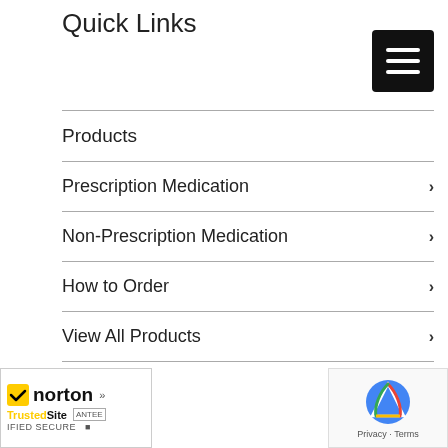Quick Links
[Figure (other): Black hamburger menu button with three white horizontal lines]
Products
Prescription Medication
Non-Prescription Medication
How to Order
View All Products
About Us
Blog
FAQ
Service
formation
[Figure (logo): Norton TrustedSite security badge with checkmark]
[Figure (other): Google reCAPTCHA badge with Privacy and Terms links]